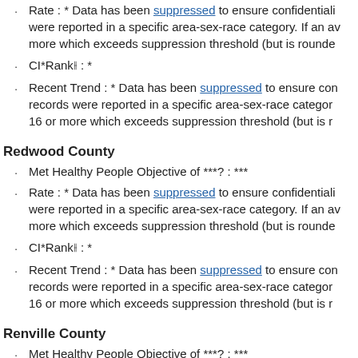Rate : * Data has been suppressed to ensure confidentiality were reported in a specific area-sex-race category. If an average count of 3 is shown, the total number of cases for the time period is 16 or more which exceeds suppression threshold (but is rounded to 15).
CI*Rank⋔ : *
Recent Trend : * Data has been suppressed to ensure confidentiality records were reported in a specific area-sex-race category. If an average count of 3 is shown, the total number of cases for the time period is 16 or more which exceeds suppression threshold (but is rounded to 15).
Redwood County
Met Healthy People Objective of ***?: ***
Rate : * Data has been suppressed to ensure confidentiality were reported in a specific area-sex-race category. If an average count of 3 is shown, the total number of cases for the time period is 16 or more which exceeds suppression threshold (but is rounded to 15).
CI*Rank⋔ : *
Recent Trend : * Data has been suppressed to ensure confidentiality records were reported in a specific area-sex-race category. If an average count of 3 is shown, the total number of cases for the time period is 16 or more which exceeds suppression threshold (but is rounded to 15).
Renville County
Met Healthy People Objective of ***?: ***
Rate : * Data has been suppressed to ensure confidentiality were reported in a specific area-sex-race category. If an a